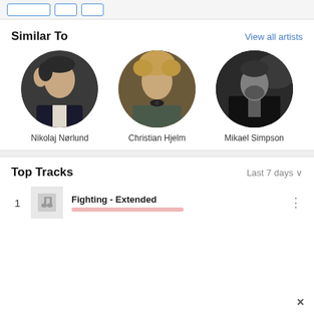Similar To
View all artists
[Figure (photo): Circular profile photo of Nikolaj Nørlund, a man in a dark jacket with hand on head]
Nikolaj Nørlund
[Figure (photo): Circular profile photo of Christian Hjelm, a man with curly hair and a polka-dot bow tie]
Christian Hjelm
[Figure (photo): Circular profile photo of Mikael Simpson, a man in a dark jacket, black and white photo]
Mikael Simpson
Top Tracks
Last 7 days
1   Fighting - Extended
×